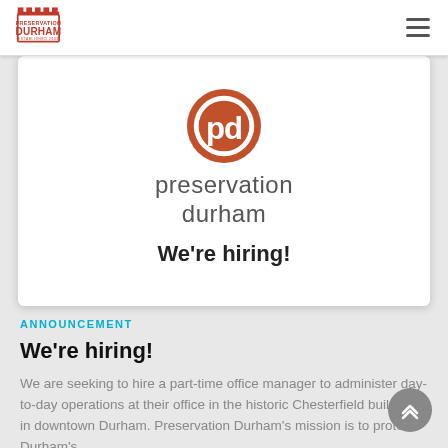[Figure (logo): Preservation Durham logo in navigation bar — castle/building icon above 'PRESERVATION DURHAM' text in orange and dark red]
[Figure (illustration): White card with Preservation Durham circular orange logo (pd initials), 'preservation durham' text in grey, and bold 'We're hiring!' text]
ANNOUNCEMENT
We're hiring!
We are seeking to hire a part-time office manager to administer day-to-day operations at their office in the historic Chesterfield building in downtown Durham. Preservation Durham's mission is to protect Durham's